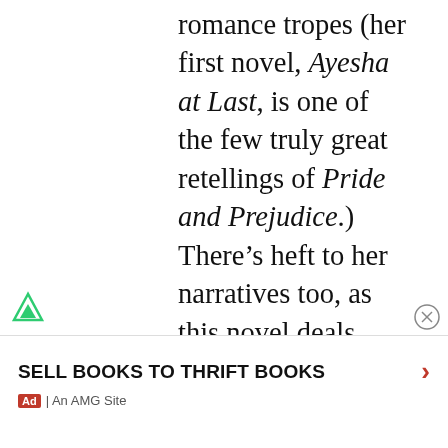romance tropes (her first novel, Ayesha at Last, is one of the few truly great retellings of Pride and Prejudice.) There's heft to her narratives too, as this novel deals with a spate of Islamophobic violence that strikes Hana's district and how she is constantly forced by white people to offer explanations for every other Muslim's wrongdoing. Jalaluddin's effortlessly told. I can't wait for more from her
SELL BOOKS TO THRIFT BOOKS | Ad | An AMG Site